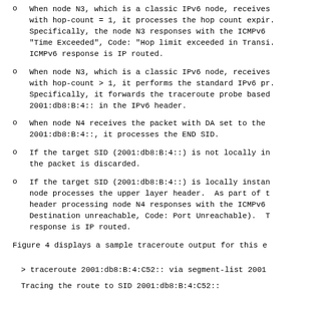When node N3, which is a classic IPv6 node, receives with hop-count = 1, it processes the hop count expir. Specifically, the node N3 responses with the ICMPv6 "Time Exceeded", Code: "Hop limit exceeded in Transi. ICMPv6 response is IP routed.
When node N3, which is a classic IPv6 node, receives with hop-count > 1, it performs the standard IPv6 pr. Specifically, it forwards the traceroute probe based 2001:db8:B:4:: in the IPv6 header.
When node N4 receives the packet with DA set to the 2001:db8:B:4::, it processes the END SID.
If the target SID (2001:db8:B:4::) is not locally in the packet is discarded.
If the target SID (2001:db8:B:4::) is locally instan node processes the upper layer header. As part of t header processing node N4 responses with the ICMPv6 Destination unreachable, Code: Port Unreachable). T response is IP routed.
Figure 4 displays a sample traceroute output for this e
> traceroute 2001:db8:B:4:C52:: via segment-list 2001
Tracing the route to SID 2001:db8:B:4:C52::